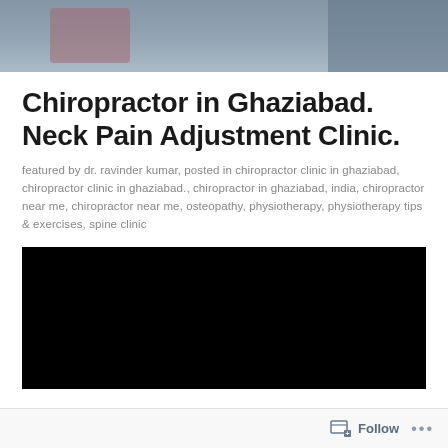[Figure (photo): Partial photo of people at the top of the page, blurred/cropped]
Chiropractor in Ghaziabad. Neck Pain Adjustment Clinic.
featured by dr. ravinder kumar, posted in chiropractor clinic in ghaziabad, chiropractor clinic in ghaziabad., chiropractor in ghaziabad, india, chiropractor near me, chiropractor near me, osteopathy, physiotherapy, physiotherapy tips & exercises, spine clinic
[Figure (other): Black video embed block]
Follow ...